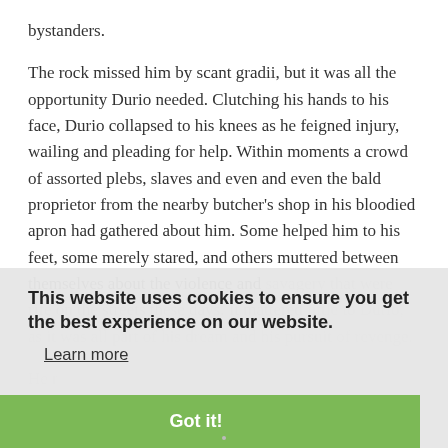bystanders.
The rock missed him by scant gradii, but it was all the opportunity Durio needed. Clutching his hands to his face, Durio collapsed to his knees as he feigned injury, wailing and pleading for help. Within moments a crowd of assorted plebs, slaves and even and even the bald proprietor from the nearby butcher's shop in his bloodied apron had gathered about him. Some helped him to his feet, some merely stared, and others muttered between themselves about the violence and savagery that were rife on the streets these days. It mattered little to Durio, as it was all part of his dream and his pursuit of revenge.
He rose to his feet, pushing his way into the assembled mob before, ducking low, he staggered away and further into the crowd.
This website uses cookies to ensure you get the best experience on our website.
Learn more
Got it!